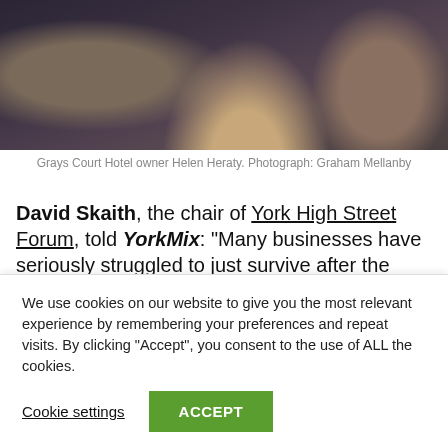[Figure (photo): Grays Court Hotel owner Helen Heraty seated in a leather chair, photographed by Graham Mellanby]
Grays Court Hotel owner Helen Heraty. Photograph: Graham Mellanby
David Skaith, the chair of York High Street Forum, told YorkMix: “Many businesses have seriously struggled to just survive after the pandemic, to now only be thrust into a cost of living crises, the invasion of Ukraine and the ongoing issues of leaving the EU
We use cookies on our website to give you the most relevant experience by remembering your preferences and repeat visits. By clicking “Accept”, you consent to the use of ALL the cookies.
Cookie settings | ACCEPT